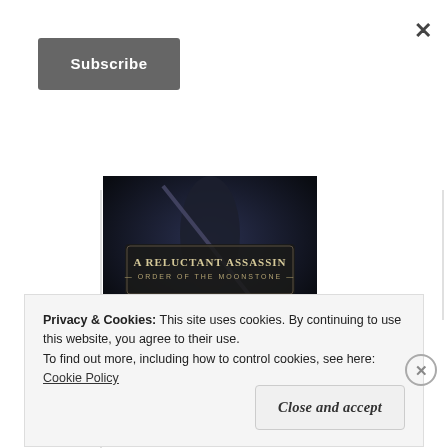[Figure (screenshot): Close (X) button in top right corner of a modal/dialog]
Subscribe
[Figure (illustration): Book cover for 'A Reluctant Assassin - Order of the Moonstone - JC Morrows'. Dark fantasy cover with armored figure.]
[Figure (screenshot): Goodreads 'Add book' button with 'g |' icon prefix]
Privacy & Cookies: This site uses cookies. By continuing to use this website, you agree to their use.
To find out more, including how to control cookies, see here:
Cookie Policy
Close and accept